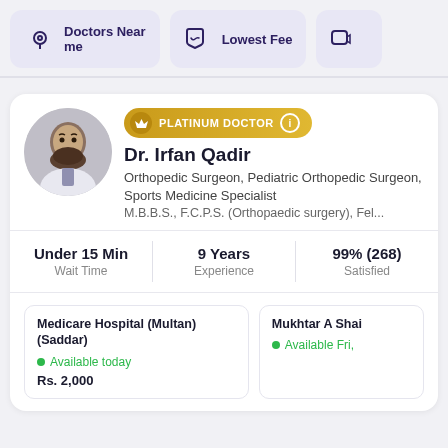Doctors Near me
Lowest Fee
PLATINUM DOCTOR
Dr. Irfan Qadir
Orthopedic Surgeon, Pediatric Orthopedic Surgeon, Sports Medicine Specialist
M.B.B.S., F.C.P.S. (Orthopaedic surgery), Fel...
|  |  |
| --- | --- |
| Under 15 Min | Wait Time |
| 9 Years | Experience |
| 99% (268) | Satisfied |
Medicare Hospital (Multan) (Saddar)
Available today
Rs. 2,000
Mukhtar A Shai
Available Fri,